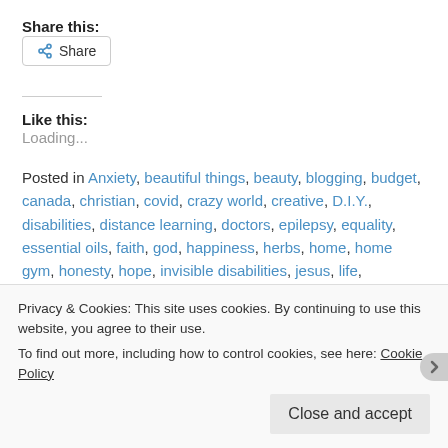Share this:
Share (button)
Like this:
Loading...
Posted in Anxiety, beautiful things, beauty, blogging, budget, canada, christian, covid, crazy world, creative, D.I.Y., disabilities, distance learning, doctors, epilepsy, equality, essential oils, faith, god, happiness, herbs, home, home gym, honesty, hope, invisible disabilities, jesus, life, medicine,
Privacy & Cookies: This site uses cookies. By continuing to use this website, you agree to their use. To find out more, including how to control cookies, see here: Cookie Policy
Close and accept